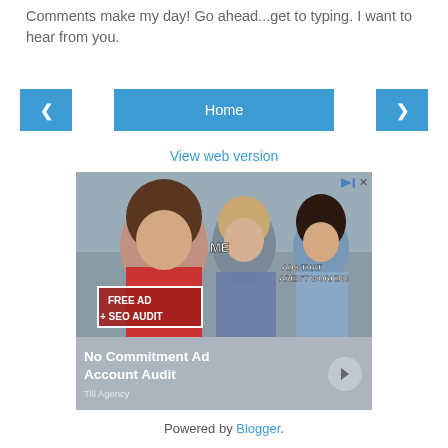Comments make my day! Go ahead...get to typing. I want to hear from you.
[Figure (screenshot): Navigation row with left arrow, Home button, and right arrow buttons in blue]
View web version
[Figure (infographic): Advertisement image showing the distracted boyfriend meme. The woman in red is labeled FREE AD + SEO AUDIT, the man is labeled ME, and the other woman is labeled ADS THAT AREN'T WORKING. Below the meme is text reading No Commitment Ad Account Audit with Till Agency branding.]
Powered by Blogger.